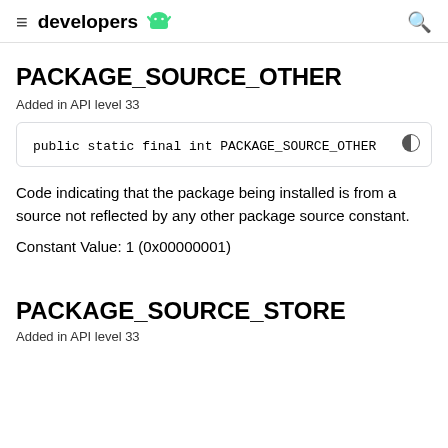developers
PACKAGE_SOURCE_OTHER
Added in API level 33
public static final int PACKAGE_SOURCE_OTHER
Code indicating that the package being installed is from a source not reflected by any other package source constant.
Constant Value: 1 (0x00000001)
PACKAGE_SOURCE_STORE
Added in API level 33